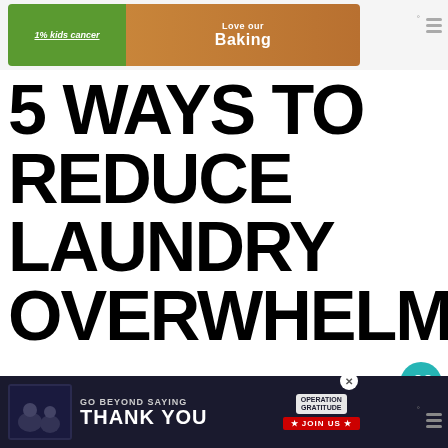[Figure (screenshot): Top advertisement banner showing kids cancer charity and baking promotion with green and brown gradient]
5 WAYS TO REDUCE LAUNDRY OVERWHELM
[Figure (infographic): Social sidebar with heart/like button showing count of 1 and share button]
That’s the key, make it easier on yourself. Doing whatever it tak… take some of the “load” off your back
[Figure (screenshot): What's Next widget showing 10 Ways to Minimize... article thumbnail]
[Figure (screenshot): Bottom advertisement banner: GO BEYOND SAYING THANK YOU - Operation Gratitude JOIN US]